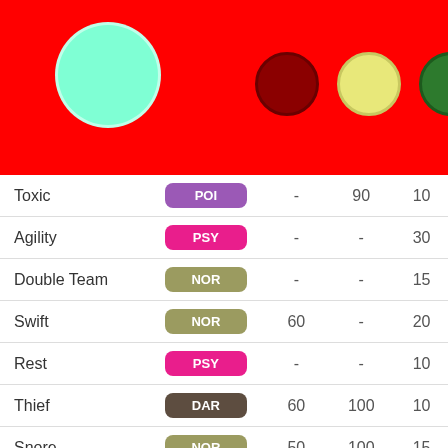[Figure (infographic): Red header bar with a large cyan/turquoise circle on the left and three colored status circles (dark red, yellow, dark green) on the right]
| Move | Type | Power | Accuracy | PP |
| --- | --- | --- | --- | --- |
| Toxic | POI | - | 90 | 10 |
| Agility | PSY | - | - | 30 |
| Double Team | NOR | - | - | 15 |
| Swift | NOR | 60 | - | 20 |
| Rest | PSY | - | - | 10 |
| Thief | DAR | 60 | 100 | 10 |
| Snore | NOR | 50 | 100 | 15 |
| Curse | GHO | - | - |  |